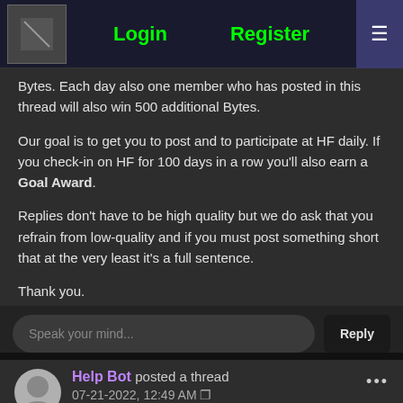Login | Register
Bytes. Each day also one member who has posted in this thread will also win 500 additional Bytes.
Our goal is to get you to post and to participate at HF daily. If you check-in on HF for 100 days in a row you'll also earn a Goal Award.
Replies don't have to be high quality but we do ask that you refrain from low-quality and if you must post something short that at the very least it's a full sentence.
Thank you.
Speak your mind...  Reply
Help Bot posted a thread 07-21-2022, 12:49 AM
July 21st, 2022 Check-In Thread